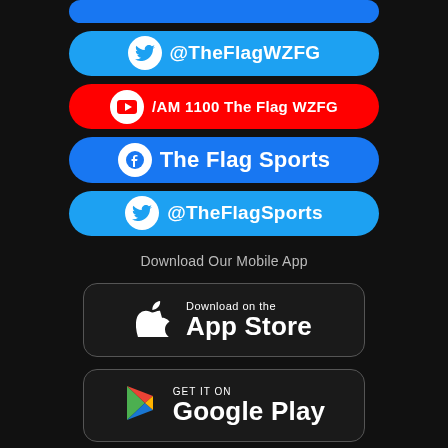[Figure (infographic): Partial Facebook social media button clipped at top of page]
[Figure (infographic): Twitter button: @TheFlagWZFG]
[Figure (infographic): YouTube button: /AM 1100 The Flag WZFG]
[Figure (infographic): Facebook button: The Flag Sports]
[Figure (infographic): Twitter button: @TheFlagSports]
Download Our Mobile App
[Figure (infographic): Download on the App Store button]
[Figure (infographic): Get it on Google Play button]